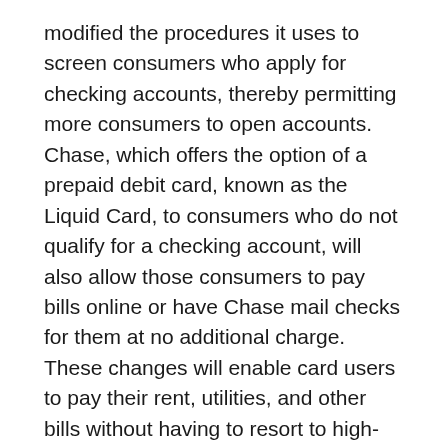modified the procedures it uses to screen consumers who apply for checking accounts, thereby permitting more consumers to open accounts. Chase, which offers the option of a prepaid debit card, known as the Liquid Card, to consumers who do not qualify for a checking account, will also allow those consumers to pay bills online or have Chase mail checks for them at no additional charge. These changes will enable card users to pay their rent, utilities, and other bills without having to resort to high-cost alternative financial services like check-cashing outlets and money transmitters.
The commitment by Chase comes as part of an initiative launched by the Attorney General in 2013 to